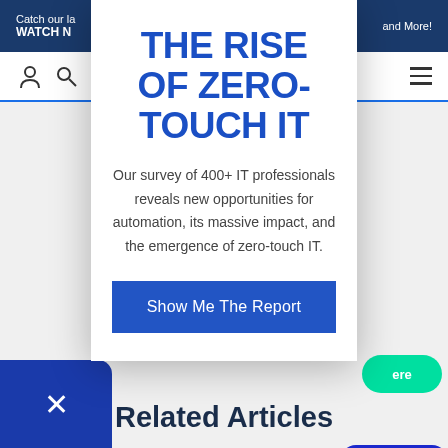Catch our la... and More! WATCH N...
[Figure (screenshot): Website navigation bar with user and search icons on the left and hamburger menu on the right, with blue underline]
THE RISE OF ZERO-TOUCH IT
Our survey of 400+ IT professionals reveals new opportunities for automation, its massive impact, and the emergence of zero-touch IT.
Show Me The Report
[Figure (screenshot): Partial view of website with blue rounded card showing 'Si...' text, dark blue card on right, teal button, close X button, and Related Articles heading]
Related Articles